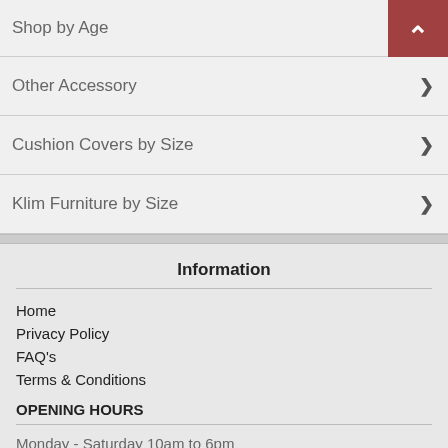Shop by Age
Other Accessory
Cushion Covers by Size
Klim Furniture by Size
Information
Home
Privacy Policy
FAQ's
Terms & Conditions
OPENING HOURS
Monday - Saturday 10am to 6pm
Sunday: Close
FIND US